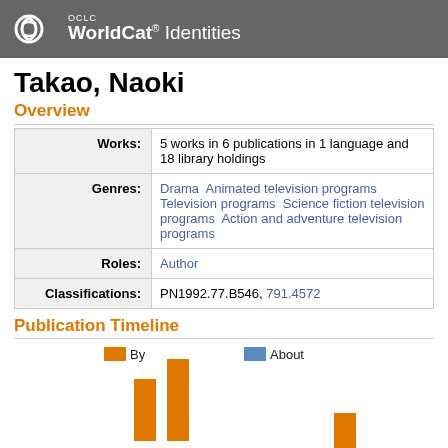OCLC WorldCat Identities
Takao, Naoki
Overview
|  |  |
| --- | --- |
| Works: | 5 works in 6 publications in 1 language and 18 library holdings |
| Genres: | Drama  Animated television programs  Television programs  Science fiction television programs  Action and adventure television programs |
| Roles: | Author |
| Classifications: | PN1992.77.B546, 791.4572 |
Publication Timeline
[Figure (bar-chart): Publication Timeline]